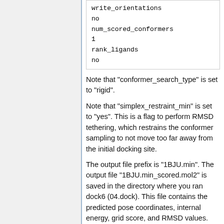write_orientations
no
num_scored_conformers
1
rank_ligands
no
Note that "conformer_search_type" is set to "rigid".
Note that "simplex_restraint_min" is set to "yes". This is a flag to perform RMSD tethering, which restrains the conformer sampling to not move too far away from the initial docking site.
The output file prefix is "1BJU.min". The output file "1BJU.min_scored.mol2" is saved in the directory where you ran dock6 (04.dock). This file contains the predicted pose coordinates, internal energy, grid score, and RMSD values.
To view your results, you can open the